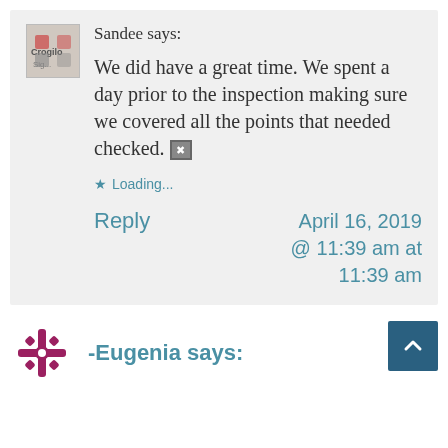Sandee says:
We did have a great time. We spent a day prior to the inspection making sure we covered all the points that needed checked.
Loading...
Reply
April 16, 2019 @ 11:39 am at 11:39 am
-Eugenia says: